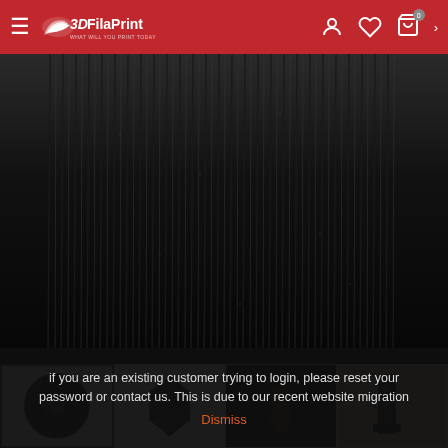3DFilaPrint — What will you print today?
[Figure (photo): Close-up of black 3D printer filament wound on a spool, showing parallel filament strands with slight sheen]
[Figure (photo): Four product thumbnails: black filament spool, black geometric icosahedron shape, black gnome figurine, black 3D printed part on printer]
if you are an existing customer trying to login, please reset your password or contact us. This is due to our recent website migration
Dismiss